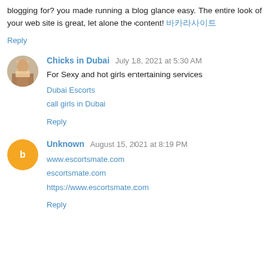blogging for? you made running a blog glance easy. The entire look of your web site is great, let alone the content! 바카라사이트
Reply
Chicks in Dubai · July 18, 2021 at 5:30 AM
For Sexy and hot girls entertaining services
Dubai Escorts
call girls in Dubai
Reply
Unknown · August 15, 2021 at 8:19 PM
www.escortsmate.com
escortsmate.com
https://www.escortsmate.com
Reply